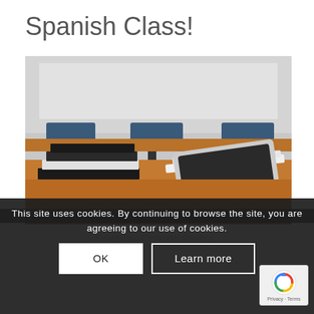Spanish Class!
[Figure (photo): Classroom photo showing stacks of books and an open textbook with a tablet on a wooden desk, with blue chairs visible in the background]
This site uses cookies. By continuing to browse the site, you are agreeing to our use of cookies.
The First Day of Spanish Class, Part 2 Establishing Classroom Standing
OK
Learn more